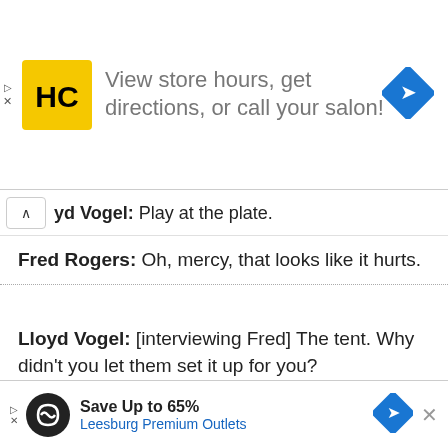[Figure (logo): Top advertisement banner: HC (Hair Cuttery) yellow logo with text 'View store hours, get directions, or call your salon!' and a blue navigation diamond icon on the right.]
yd Vogel: Play at the plate.
Fred Rogers: Oh, mercy, that looks like it hurts.
Lloyd Vogel: [interviewing Fred] The tent. Why didn't you let them set it up for you?
Fred Rogers: Well, children need to know that even when adults make plans, sometimes they don't turn out the way we'd hoped.
[Figure (logo): Bottom advertisement banner: Infinity logo on black circle, 'Save Up to 65% Leesburg Premium Outlets', blue navigation diamond and X close button.]